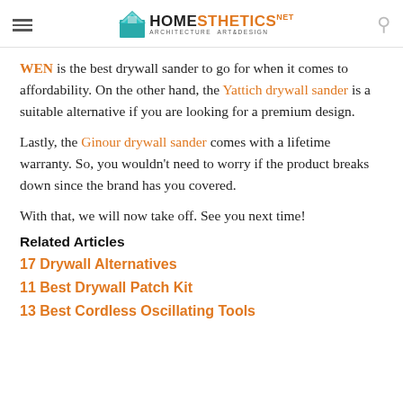Homesthetics - Architecture Art & Design
WEN is the best drywall sander to go for when it comes to affordability. On the other hand, the Yattich drywall sander is a suitable alternative if you are looking for a premium design.
Lastly, the Ginour drywall sander comes with a lifetime warranty. So, you wouldn't need to worry if the product breaks down since the brand has you covered.
With that, we will now take off. See you next time!
Related Articles
17 Drywall Alternatives
11 Best Drywall Patch Kit
13 Best Cordless Oscillating Tools